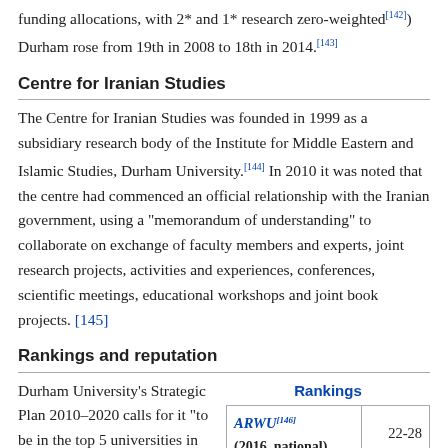funding allocations, with 2* and 1* research zero-weighted[142]) Durham rose from 19th in 2008 to 18th in 2014.[143]
Centre for Iranian Studies
The Centre for Iranian Studies was founded in 1999 as a subsidiary research body of the Institute for Middle Eastern and Islamic Studies, Durham University.[144] In 2010 it was noted that the centre had commenced an official relationship with the Iranian government, using a "memorandum of understanding" to collaborate on exchange of faculty members and experts, joint research projects, activities and experiences, conferences, scientific meetings, educational workshops and joint book projects.[145]
Rankings and reputation
Durham University's Strategic Plan 2010–2020 calls for it "to be in the top 5 universities in major UK league tables" (defined as
| Rankings |  |
| --- | --- |
| ARWU[146] (2016, national) | 22-28 |
| ARWU[147] (2016, world) | 201-300 |
| QS[148] (2016/17, national) | 12 |